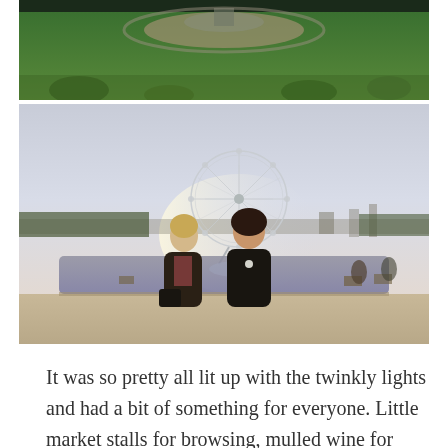[Figure (photo): Top photo showing a green park or garden with manicured lawn, a pathway, and some shrubs or plantings in the foreground.]
[Figure (photo): Photo of two women standing in front of a large ferris wheel (Grande Roue) in Paris, with a reflecting pool/pond visible behind them, taken at dusk/sunset. Sandy ground in foreground, benches and other people visible in background.]
It was so pretty all lit up with the twinkly lights and had a bit of something for everyone. Little market stalls for browsing, mulled wine for